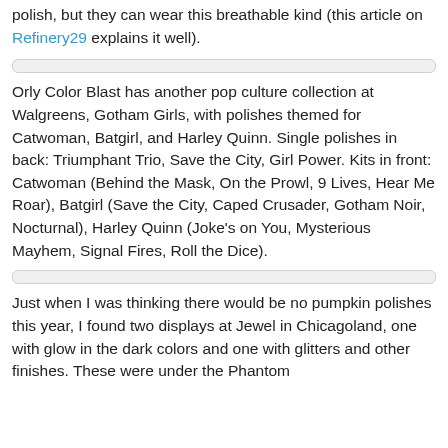polish, but they can wear this breathable kind (this article on Refinery29 explains it well).
Orly Color Blast has another pop culture collection at Walgreens, Gotham Girls, with polishes themed for Catwoman, Batgirl, and Harley Quinn. Single polishes in back: Triumphant Trio, Save the City, Girl Power. Kits in front: Catwoman (Behind the Mask, On the Prowl, 9 Lives, Hear Me Roar), Batgirl (Save the City, Caped Crusader, Gotham Noir, Nocturnal), Harley Quinn (Joke's on You, Mysterious Mayhem, Signal Fires, Roll the Dice).
Just when I was thinking there would be no pumpkin polishes this year, I found two displays at Jewel in Chicagoland, one with glow in the dark colors and one with glitters and other finishes. These were under the Phantom